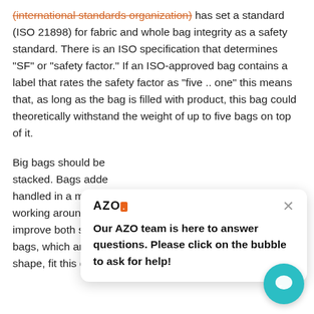(international standards organization) has set a standard (ISO 21898) for fabric and whole bag integrity as a safety standard. There is an ISO specification that determines "SF" or "safety factor." If an ISO-approved bag contains a label that rates the safety factor as "five .. one" this means that, as long as the bag is filled with product, this bag could theoretically withstand the weight of up to five bags on top of it.
Big bags should be stacked. Bags added handled in a manner working around it. improve both stack bags, which are specifically designed to retain their square shape, fit this description particularly well.)
[Figure (other): AZO chat popup overlay with logo, close button, and message: Our AZO team is here to answer questions. Please click on the bubble to ask for help!]